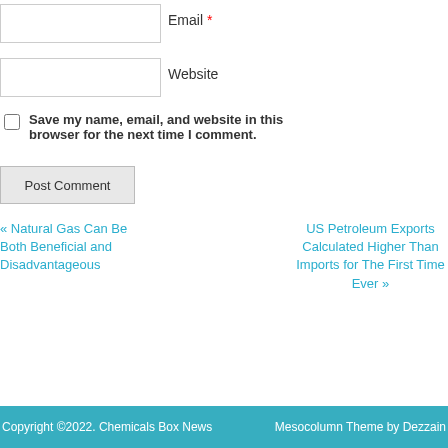Email *
Website
Save my name, email, and website in this browser for the next time I comment.
Post Comment
« Natural Gas Can Be Both Beneficial and Disadvantageous
US Petroleum Exports Calculated Higher Than Imports for The First Time Ever »
Copyright ©2022. Chemicals Box News   Mesocolumn Theme by Dezzain